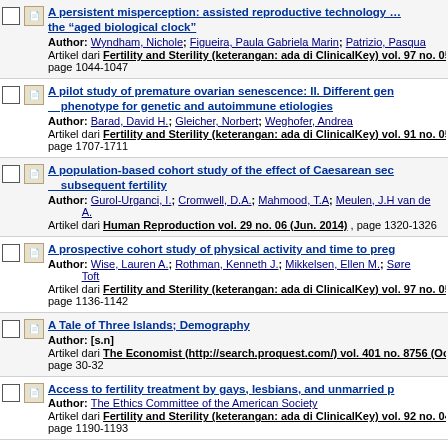A persistent misperception: assisted reproductive technology and the "aged biological clock"
Author: Wyndham, Nichole; Figueira, Paula Gabriela Marin; Patrizio, Pasqual
Artikel dari Fertility and Sterility (keterangan: ada di ClinicalKey) vol. 97 no. 05
page 1044-1047
A pilot study of premature ovarian senescence: II. Different gen phenotype for genetic and autoimmune etiologies
Author: Barad, David H.; Gleicher, Norbert; Weghofer, Andrea
Artikel dari Fertility and Sterility (keterangan: ada di ClinicalKey) vol. 91 no. 05
page 1707-1711
A population-based cohort study of the effect of Caesarean sec subsequent fertility
Author: Gurol-Urganci, I.; Cromwell, D.A.; Mahmood, T.A; Meulen, J.H van de A.
Artikel dari Human Reproduction vol. 29 no. 06 (Jun. 2014), page 1320-1326
A prospective cohort study of physical activity and time to preg
Author: Wise, Lauren A.; Rothman, Kenneth J.; Mikkelsen, Ellen M.; Søre Toft
Artikel dari Fertility and Sterility (keterangan: ada di ClinicalKey) vol. 97 no. 05
page 1136-1142
A Tale of Three Islands; Demography
Author: [s.n]
Artikel dari The Economist (http://search.proquest.com/) vol. 401 no. 8756 (Oct.
page 30-32
Access to fertility treatment by gays, lesbians, and unmarried p
Author: The Ethics Committee of the American Society
Artikel dari Fertility and Sterility (keterangan: ada di ClinicalKey) vol. 92 no. 04
page 1190-1193